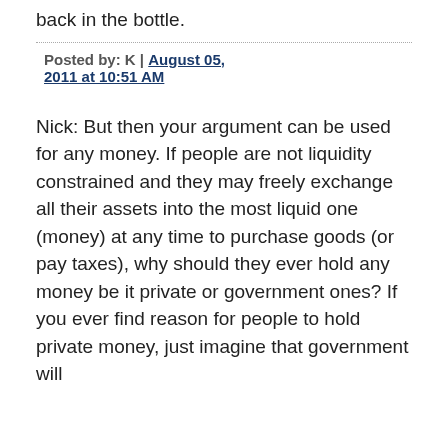back in the bottle.
Posted by: K | August 05, 2011 at 10:51 AM
Nick: But then your argument can be used for any money. If people are not liquidity constrained and they may freely exchange all their assets into the most liquid one (money) at any time to purchase goods (or pay taxes), why should they ever hold any money be it private or government ones? If you ever find reason for people to hold private money, just imagine that government will